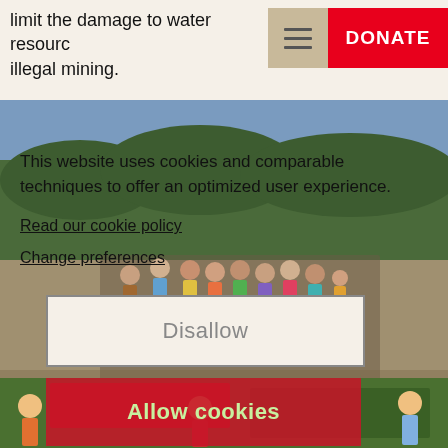limit the damage to water resources from illegal mining.
[Figure (other): Navigation bar element: hamburger menu icon on beige background]
[Figure (other): Red DONATE button]
[Figure (photo): Outdoor scene with a group of children standing in a line on a sandy area, with deforested hillside in the background]
This website uses cookies and comparable techniques to offer an optimized user experience.
Read our cookie policy
Change preferences
Disallow
[Figure (photo): Children playing outdoors near red structure]
Allow cookies